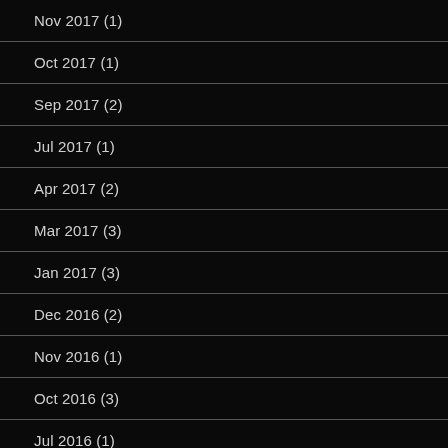Nov 2017 (1)
Oct 2017 (1)
Sep 2017 (2)
Jul 2017 (1)
Apr 2017 (2)
Mar 2017 (3)
Jan 2017 (3)
Dec 2016 (2)
Nov 2016 (1)
Oct 2016 (3)
Jul 2016 (1)